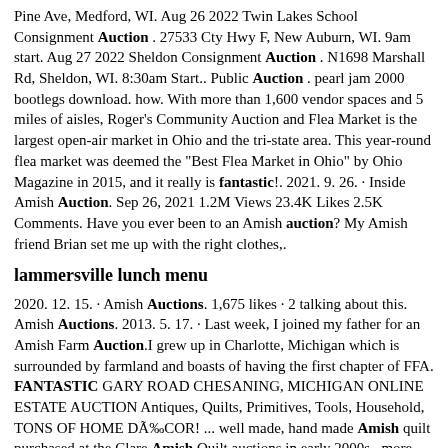Pine Ave, Medford, WI. Aug 26 2022 Twin Lakes School Consignment Auction . 27533 Cty Hwy F, New Auburn, WI. 9am start. Aug 27 2022 Sheldon Consignment Auction . N1698 Marshall Rd, Sheldon, WI. 8:30am Start.. Public Auction . pearl jam 2000 bootlegs download. how. With more than 1,600 vendor spaces and 5 miles of aisles, Roger's Community Auction and Flea Market is the largest open-air market in Ohio and the tri-state area. This year-round flea market was deemed the "Best Flea Market in Ohio" by Ohio Magazine in 2015, and it really is fantastic!. 2021. 9. 26. · Inside Amish Auction. Sep 26, 2021 1.2M Views 23.4K Likes 2.5K Comments. Have you ever been to an Amish auction? My Amish friend Brian set me up with the right clothes,.
lammersville lunch menu
2020. 12. 15. · Amish Auctions. 1,675 likes · 2 talking about this. Amish Auctions. 2013. 5. 17. · Last week, I joined my father for an Amish Farm Auction.I grew up in Charlotte, Michigan which is surrounded by farmland and boasts of having the first chapter of FFA. FANTASTIC GARY ROAD CHESANING, MICHIGAN ONLINE ESTATE AUCTION Antiques, Quilts, Primitives, Tools, Household, TONS OF HOME DÃ‰COR! ... well made, hand made Amish quilt purchased at the Clare Amish Quilt auctions in early 2000s...more. Bid Not Accepted! Bid Accepted! You've been outbid! Sold for: USD 350.00. You've. Amish auction events in